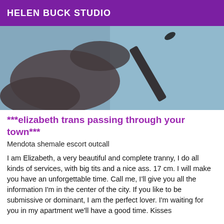HELEN BUCK STUDIO
[Figure (photo): Close-up photo of a dark-skinned leg wearing a high-heeled shoe, resting on a light blue surface]
***elizabeth trans passing through your town***
Mendota shemale escort outcall
I am Elizabeth, a very beautiful and complete tranny, I do all kinds of services, with big tits and a nice ass. 17 cm. I will make you have an unforgettable time. Call me, I'll give you all the information I'm in the center of the city. If you like to be submissive or dominant, I am the perfect lover. I'm waiting for you in my apartment we'll have a good time. Kisses